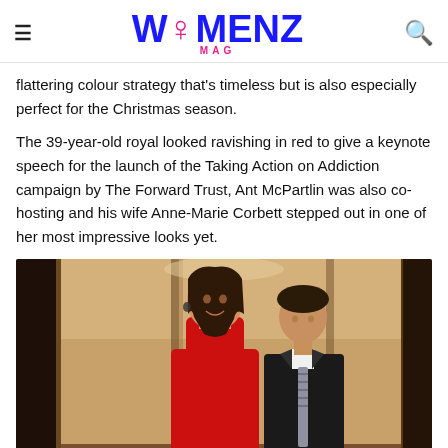WOMENZ MAG
flattering colour strategy that's timeless but is also especially perfect for the Christmas season.
The 39-year-old royal looked ravishing in red to give a keynote speech for the launch of the Taking Action on Addiction campaign by The Forward Trust, Ant McPartlin was also co-hosting and his wife Anne-Marie Corbett stepped out in one of her most impressive looks yet.
[Figure (photo): A woman in a red turtleneck dress smiling, with a man in a dark suit and striped tie behind her, in what appears to be a lobby or event venue.]